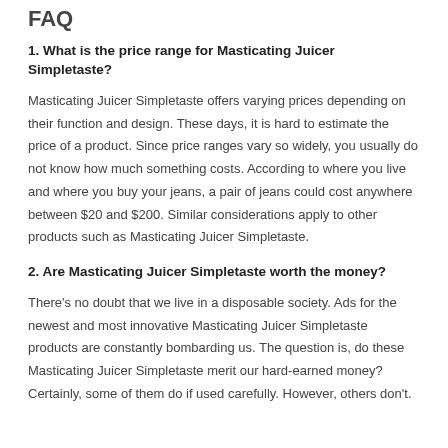FAQ
1. What is the price range for Masticating Juicer Simpletaste?
Masticating Juicer Simpletaste offers varying prices depending on their function and design. These days, it is hard to estimate the price of a product. Since price ranges vary so widely, you usually do not know how much something costs. According to where you live and where you buy your jeans, a pair of jeans could cost anywhere between $20 and $200. Similar considerations apply to other products such as Masticating Juicer Simpletaste.
2. Are Masticating Juicer Simpletaste worth the money?
There's no doubt that we live in a disposable society. Ads for the newest and most innovative Masticating Juicer Simpletaste products are constantly bombarding us. The question is, do these Masticating Juicer Simpletaste merit our hard-earned money? Certainly, some of them do if used carefully. However, others don't.